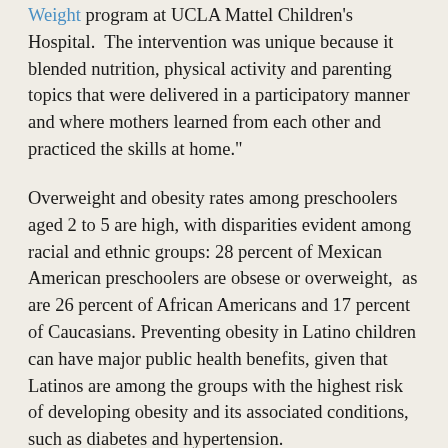Weight program at UCLA Mattel Children's Hospital. The intervention was unique because it blended nutrition, physical activity and parenting topics that were delivered in a participatory manner and where mothers learned from each other and practiced the skills at home."
Overweight and obesity rates among preschoolers aged 2 to 5 are high, with disparities evident among racial and ethnic groups: 28 percent of Mexican American preschoolers are obsese or overweight, as are 26 percent of African Americans and 17 percent of Caucasians. Preventing obesity in Latino children can have major public health benefits, given that Latinos are among the groups with the highest risk of developing obesity and its associated conditions, such as diabetes and hypertension.
The randomized, controlled study evaluated the culturally sensitive parent-training intervention, which consisted of one-and-a-half–hour classes once a week for seven weeks,